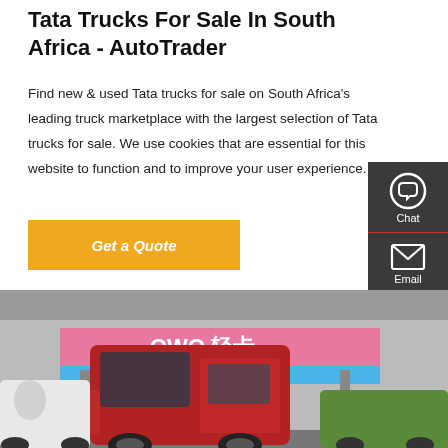Tata Trucks For Sale In South Africa - AutoTrader
Find new & used Tata trucks for sale on South Africa's leading truck marketplace with the largest selection of Tata trucks for sale. We use cookies that are essential for this website to function and to improve your user experience.
[Figure (screenshot): Orange 'Get a Quote' button on white background]
[Figure (screenshot): Dark grey side panel with Chat, Email, Contact, and Top navigation icons on the right edge of the page]
[Figure (photo): Photo of a red heavy-duty truck cab (Howo brand) in a commercial truck lot with other vehicles including a cement mixer; pink and blue building signage reading 'OWO 轻卡' visible in background]